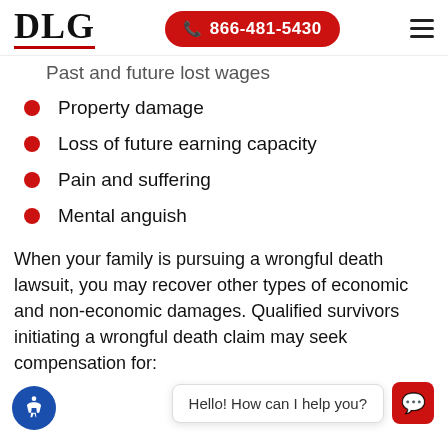DLG | 866-481-5430
Past and future lost wages
Property damage
Loss of future earning capacity
Pain and suffering
Mental anguish
When your family is pursuing a wrongful death lawsuit, you may recover other types of economic and non-economic damages. Qualified survivors initiating a wrongful death claim may seek compensation for: